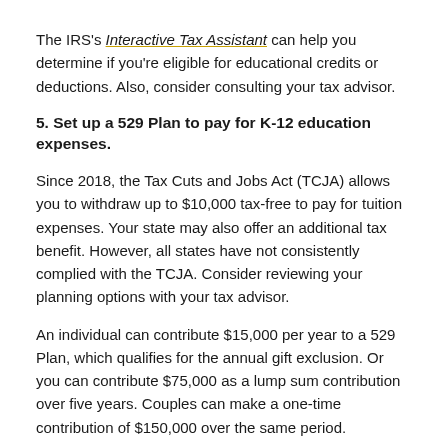The IRS's Interactive Tax Assistant can help you determine if you're eligible for educational credits or deductions. Also, consider consulting your tax advisor.
5. Set up a 529 Plan to pay for K-12 education expenses.
Since 2018, the Tax Cuts and Jobs Act (TCJA) allows you to withdraw up to $10,000 tax-free to pay for tuition expenses. Your state may also offer an additional tax benefit. However, all states have not consistently complied with the TCJA. Consider reviewing your planning options with your tax advisor.
An individual can contribute $15,000 per year to a 529 Plan, which qualifies for the annual gift exclusion. Or you can contribute $75,000 as a lump sum contribution over five years. Couples can make a one-time contribution of $150,000 over the same period.
With draws can stem from when you want to use qualified...